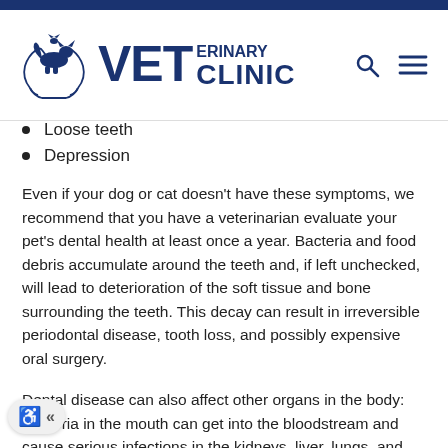VETERINARY CLINIC
Loose teeth
Depression
Even if your dog or cat doesn't have these symptoms, we recommend that you have a veterinarian evaluate your pet's dental health at least once a year. Bacteria and food debris accumulate around the teeth and, if left unchecked, will lead to deterioration of the soft tissue and bone surrounding the teeth. This decay can result in irreversible periodontal disease, tooth loss, and possibly expensive oral surgery.
Dental disease can also affect other organs in the body: Bacteria in the mouth can get into the bloodstream and cause serious infections in the kidneys, liver, lungs, and heart. If these problems